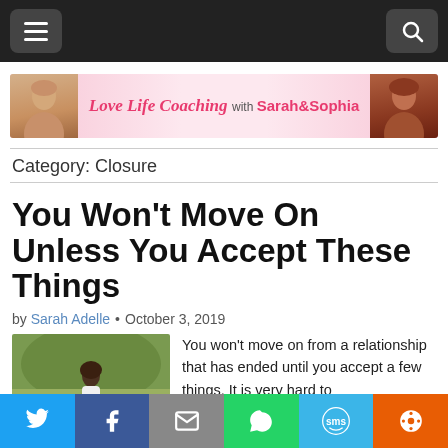Navigation bar with menu and search buttons
[Figure (illustration): Love Life Coaching with Sarah & Sophia banner with two women's photos on either side and pink floral background]
Category: Closure
You Won't Move On Unless You Accept These Things
by Sarah Adelle • October 3, 2019
[Figure (photo): Woman sitting in a flower field, back to camera, with text overlay YOU WON'T MOVE ON UNLESS]
You won't move on from a relationship that has ended until you accept a few things. It is very hard to
Social share bar: Twitter, Facebook, Email, WhatsApp, SMS, More